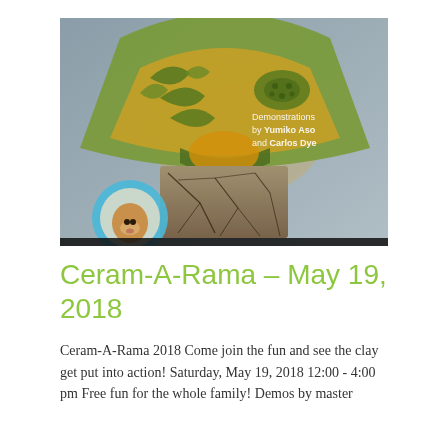[Figure (photo): A green ceramic fan-shaped lamp with cut-out nature motifs (leaves, turtle) lit from within with golden light, sitting on a crackle-glazed rectangular base. Bottom left shows a partial circular logo with an animal face. Text overlay reads 'Demonstrations by Yumiko Aso and Carlos Dye'.]
Ceram-A-Rama – May 19, 2018
Ceram-A-Rama 2018 Come join the fun and see the clay get put into action! Saturday, May 19, 2018 12:00 - 4:00 pm Free fun for the whole family! Demos by master